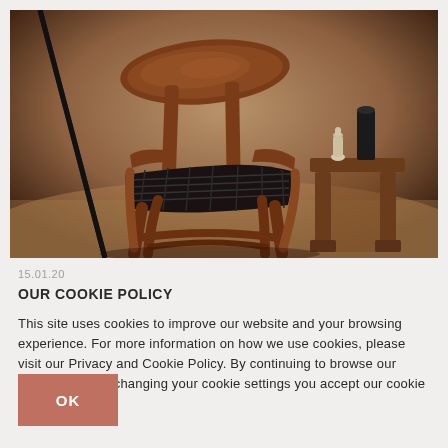[Figure (photo): A wooden armchair with a curved backrest and black woven seat, sitting in front of a warm brown textured background. To the right is a wooden side table with a black cylindrical object and a small white vase on top. The setting is a mid-century modern furniture scene.]
15.01.20
OUR COOKIE POLICY
This site uses cookies to improve our website and your browsing experience. For more information on how we use cookies, please visit our Privacy and Cookie Policy. By continuing to browse our website without changing your cookie settings you accept our cookie policy.
OK